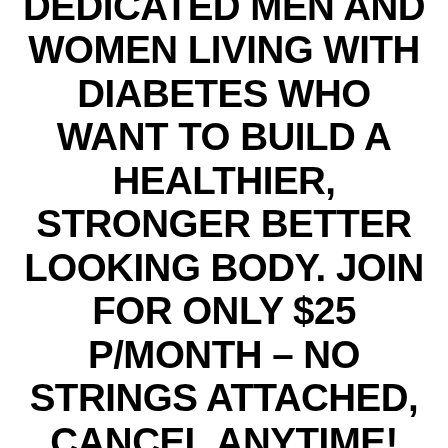DEDICATED MEN AND WOMEN LIVING WITH DIABETES WHO WANT TO BUILD A HEALTHIER, STRONGER BETTER LOOKING BODY. JOIN FOR ONLY $25 P/MONTH – NO STRINGS ATTACHED, CANCEL ANYTIME!